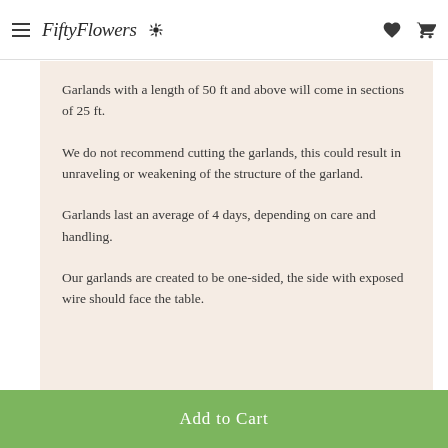FiftyFlowers
Garlands with a length of 50 ft and above will come in sections of 25 ft.
We do not recommend cutting the garlands, this could result in unraveling or weakening of the structure of the garland.
Garlands last an average of 4 days, depending on care and handling.
Our garlands are created to be one-sided, the side with exposed wire should face the table.
Add to Cart